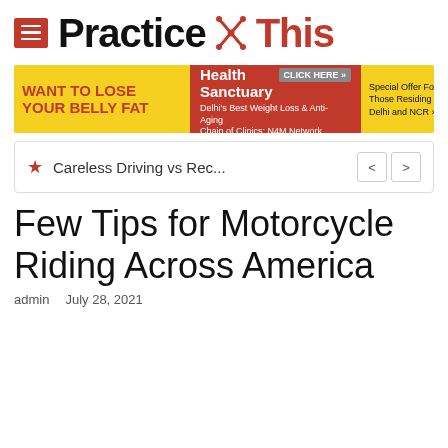Practice This
[Figure (screenshot): Advertisement banner: WANT TO LOSE YOUR BELLY FAT | Join Health Sanctuary - Delhi's Best Weight Loss & Anti-Aging Chain of Clinics: N4M Network Survery | CLICK HERE >> | Special Offer For Those Residing in Delhi and NCR >>]
Careless Driving vs Rec...
Few Tips for Motorcycle Riding Across America
admin   July 28, 2021